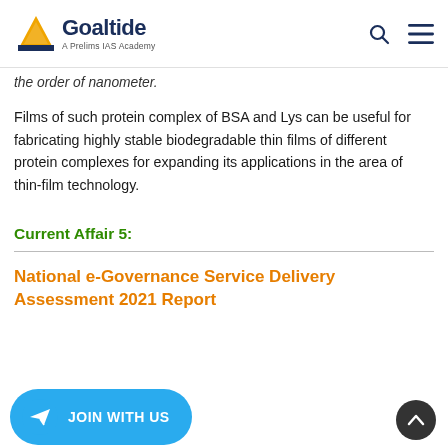Goaltide — A Prelims IAS Academy
the order of nanometer.
Films of such protein complex of BSA and Lys can be useful for fabricating highly stable biodegradable thin films of different protein complexes for expanding its applications in the area of thin-film technology.
Current Affair 5:
National e-Governance Service Delivery Assessment 2021 Report
[Figure (logo): Telegram JOIN WITH US button and back-to-top arrow button]